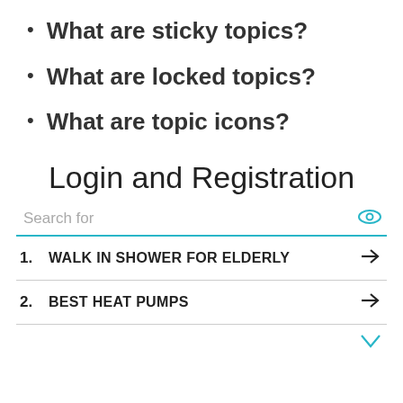What are sticky topics?
What are locked topics?
What are topic icons?
Login and Registration
Search for
1. WALK IN SHOWER FOR ELDERLY
2. BEST HEAT PUMPS